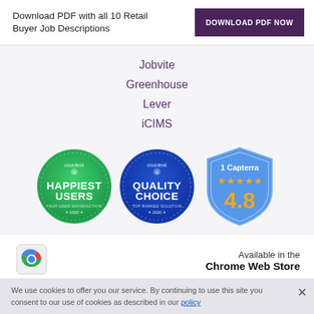Download PDF with all 10 Retail Buyer Job Descriptions
DOWNLOAD PDF NOW
Jobvite
Greenhouse
Lever
iCIMS
[Figure (illustration): Crozdesk Happiest Users 2020 badge (green circle)]
[Figure (illustration): Crozdesk Quality Choice 2020 badge (blue circle)]
[Figure (illustration): Capterra 4.8 stars rating badge (blue shield)]
[Figure (illustration): Chrome Web Store icon]
Available in the Chrome Web Store
We use cookies to offer you our service. By continuing to use this site you consent to our use of cookies as described in our policy